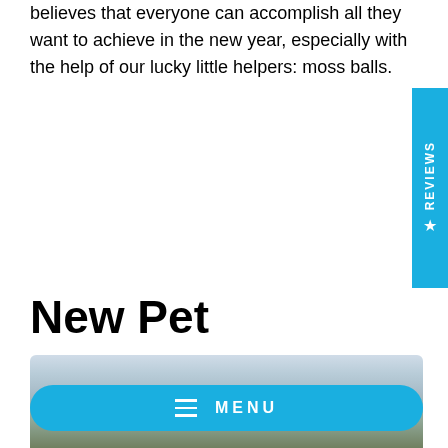believes that everyone can accomplish all they want to achieve in the new year, especially with the help of our lucky little helpers: moss balls.
[Figure (other): Blue vertical Reviews tab on the right side of the page with star icon and rotated REVIEWS text]
New Pet
[Figure (photo): Outdoor photo showing a bridge or fence structure with blurred greenery and sky background, with a Menu button overlay]